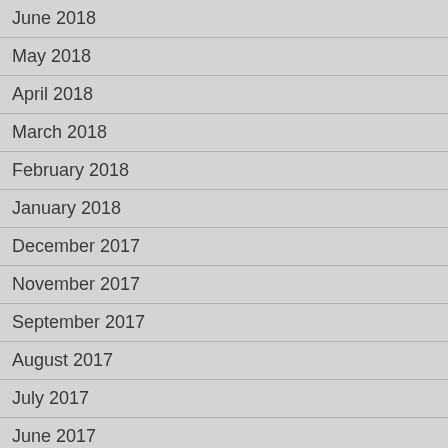June 2018
May 2018
April 2018
March 2018
February 2018
January 2018
December 2017
November 2017
September 2017
August 2017
July 2017
June 2017
May 2017